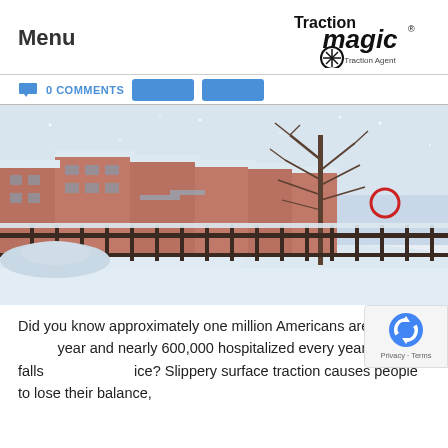Menu | Traction Magic Traction Agent
0 COMMENTS
[Figure (photo): Snow-covered residential brick buildings and a bare tree on a winter street with heavy snow on the ground, cars, and a dark iron fence in the foreground.]
Did you know approximately one million Americans are injured every year and nearly 600,000 hospitalized every year due to falls on snow and ice? Slippery surface traction causes people to lose their balance,